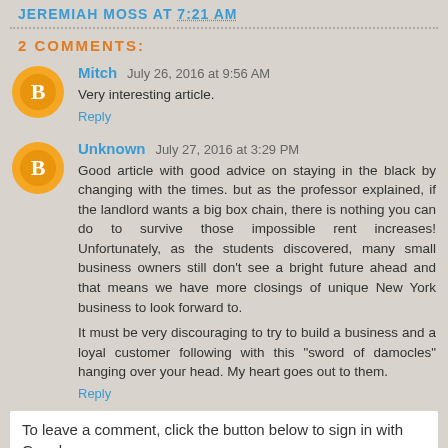JEREMIAH MOSS AT 7:21 AM
2 COMMENTS:
Mitch  July 26, 2016 at 9:56 AM
Very interesting article.
Reply
Unknown  July 27, 2016 at 3:29 PM
Good article with good advice on staying in the black by changing with the times. but as the professor explained, if the landlord wants a big box chain, there is nothing you can do to survive those impossible rent increases! Unfortunately, as the students discovered, many small business owners still don't see a bright future ahead and that means we have more closings of unique New York business to look forward to.

It must be very discouraging to try to build a business and a loyal customer following with this "sword of damocles" hanging over your head. My heart goes out to them.
Reply
To leave a comment, click the button below to sign in with Google.